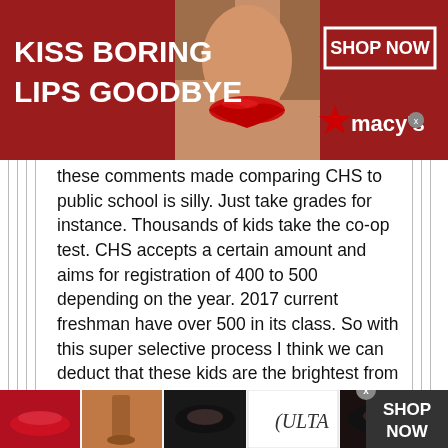[Figure (illustration): Macy's advertisement banner: red background with 'KISS BORING LIPS GOODBYE' in white bold text on left, woman's face with red lips in center, 'SHOP NOW' button in white border box and Macy's star logo on right.]
these comments made comparing CHS to public school is silly. Just take grades for instance. Thousands of kids take the co-op test. CHS accepts a certain amount and aims for registration of 400 to 500 depending on the year. 2017 current freshman have over 500 in its class. So with this super selective process I think we can deduct that these kids are the brightest from their respective districts. I am also confident that when my son applies to college along with his gpa will be a school profile that speaks for itself. No AP's, no intel, no problem.
The student body is comprised of ALL
[Figure (illustration): ULTA Beauty advertisement banner at the bottom with beauty product images (lips, makeup brush, eye, ULTA logo, eye closeup) and 'SHOP NOW' button on dark background.]